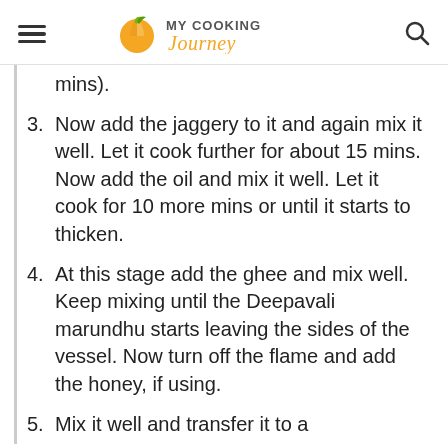MY COOKING Journey
mins).
Now add the jaggery to it and again mix it well. Let it cook further for about 15 mins. Now add the oil and mix it well. Let it cook for 10 more mins or until it starts to thicken.
At this stage add the ghee and mix well. Keep mixing until the Deepavali marundhu starts leaving the sides of the vessel. Now turn off the flame and add the honey, if using.
Mix it well and transfer it to a